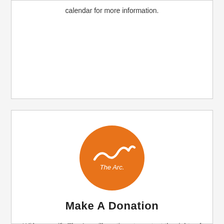calendar for more information.
[Figure (logo): The Arc logo — white arc/wave symbol with 'The Arc.' text on an orange circle background]
Make A Donation
With your gift, The Arc will continue to protect the rights of people with disabilities and support their full inclusion in the community.